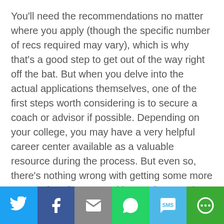You'll need the recommendations no matter where you apply (though the specific number of recs required may vary), which is why that's a good step to get out of the way right off the bat. But when you delve into the actual applications themselves, one of the first steps worth considering is to secure a coach or advisor if possible. Depending on your college, you may have a very helpful career center available as a valuable resource during the process. But even so, there's nothing wrong with getting some more personal assistance and instruction. Menlo Coaching points to the numerous ways in which a professional coach can actually help you to organize your application and address each step properly. From choosing the right schools and programs to writing essays, designing resumes, and practicing interviews, a coach can help you to present yourself as effectively as possible throughout the
[Figure (other): Social sharing bar with icons for Twitter, Facebook, Email, WhatsApp, SMS, and More]